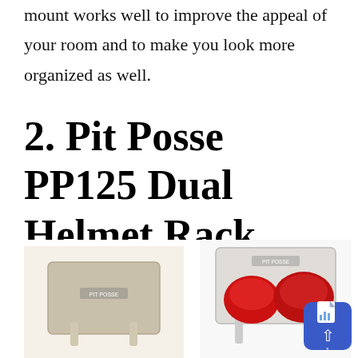mount works well to improve the appeal of your room and to make you look more organized as well.
2. Pit Posse PP125 Dual Helmet Rack Holder Aluminum
[Figure (photo): Two product photos of the Pit Posse PP125 Dual Helmet Rack Holder Aluminum. Left image shows a silver/beige colored empty dual helmet rack. Right image shows the same rack in white/silver holding two red helmets.]